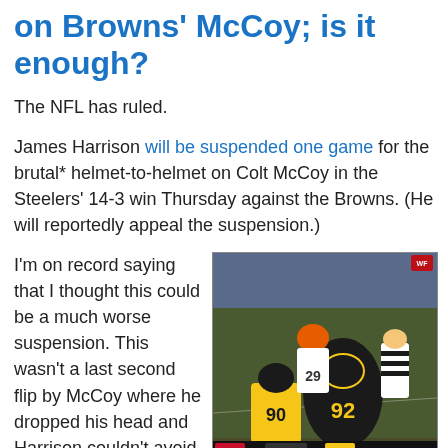on Browns' McCoy; is it enough?
The NFL has ruled.
James Harrison will be suspended one game for the brutal* helmet-to-helmet on Colt McCoy in the Steelers' 14-3 win Thursday against the Browns. (He will reportedly appeal the suspension.)
I'm on record saying that I thought this could be a much worse suspension. This wasn't a last second flip by McCoy where he dropped his head and Harrison couldn't avoid the helmet collision.
[Figure (photo): Football game photo showing players from the Steelers (number 92, number 90) and Browns (number 29) with a referee on the field. A scoreboard overlay shows CLE 3, 4TH, 5:09, PIT 7.]
Courtesy WFNY
James Harrison is a great player, and he had plenty of time